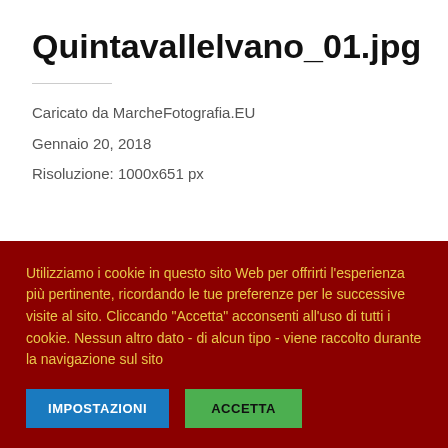Quintavallelvano_01.jpg
Caricato da MarcheFotografia.EU
Gennaio 20, 2018
Risoluzione: 1000x651 px
Utilizziamo i cookie in questo sito Web per offrirti l'esperienza più pertinente, ricordando le tue preferenze per le successive visite al sito. Cliccando "Accetta" acconsenti all'uso di tutti i cookie. Nessun altro dato - di alcun tipo - viene raccolto durante la navigazione sul sito
IMPOSTAZIONI   ACCETTA